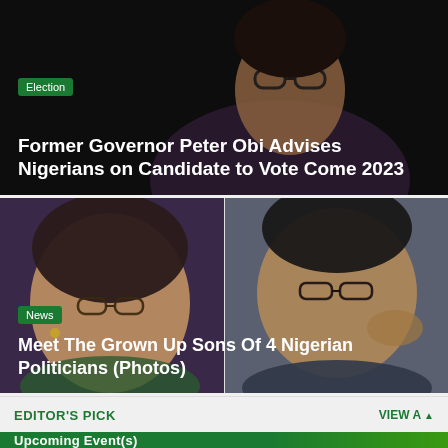[Figure (photo): Dark background photo of a man (Peter Obi) wearing glasses, smiling, in a dark outfit]
Election
Former Governor Peter Obi Advises Nigerians on Candidate to Vote Come 2023
[Figure (photo): Split photo: left side shows a woman (Ngozi Okonjo-Iweala) with glasses, right side shows a man with glasses with hand near face]
News
Meet The Grown Up Sons Of 4 Nigerian Politicians (Photos)
EDITOR'S PICK
VIEW A
Upcoming Event(s)